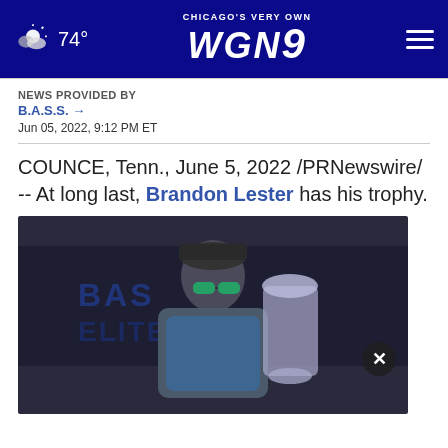74° CHICAGO'S VERY OWN WGN9
NEWS PROVIDED BY
B.A.S.S. →
Jun 05, 2022, 9:12 PM ET
COUNCE, Tenn., June 5, 2022 /PRNewswire/ -- At long last, Brandon Lester has his trophy.
[Figure (photo): Man wearing sunglasses and a fishing cap holding a large Bassmaster Elite Series trophy, standing in front of a Bassmaster backdrop.]